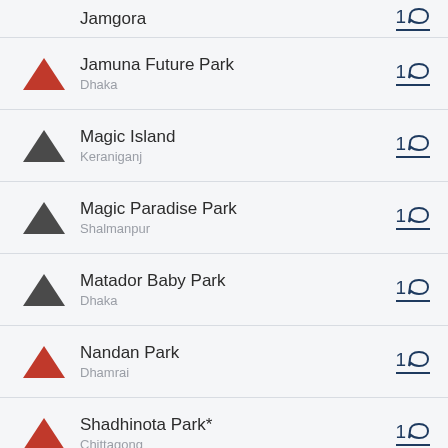Jamgora
Jamuna Future Park
Dhaka
Magic Island
Keraniganj
Magic Paradise Park
Shalmanpur
Matador Baby Park
Dhaka
Nandan Park
Dhamrai
Shadhinota Park*
Chittagong